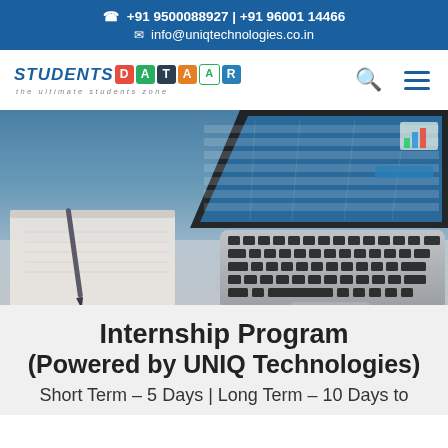+91 9500088927 | +91 96001 14466
info@uniqtechnologies.co.in
[Figure (logo): Students Bazaar logo with colorful letter boxes and tagline 'the ultimate students zone']
[Figure (photo): Laptop with notebook and pen on a desk, laptop screen showing a spreadsheet application]
Internship Program
(Powered by UNIQ Technologies)
Short Term – 5 Days | Long Term – 10 Days to